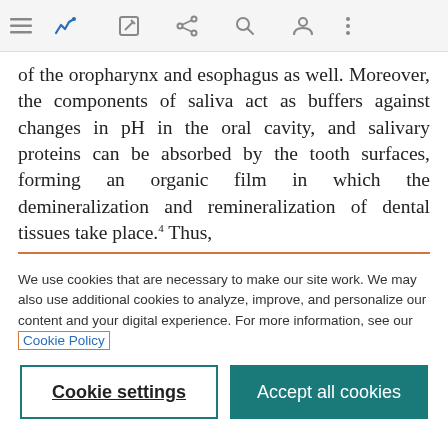[Figure (screenshot): Browser toolbar with menu, bookmark, edit, share, search, profile, and more icons on a light grey background]
of the oropharynx and esophagus as well. Moreover, the components of saliva act as buffers against changes in pH in the oral cavity, and salivary proteins can be absorbed by the tooth surfaces, forming an organic film in which the demineralization and remineralization of dental tissues take place.4 Thus,
We use cookies that are necessary to make our site work. We may also use additional cookies to analyze, improve, and personalize our content and your digital experience. For more information, see our Cookie Policy
Cookie settings
Accept all cookies